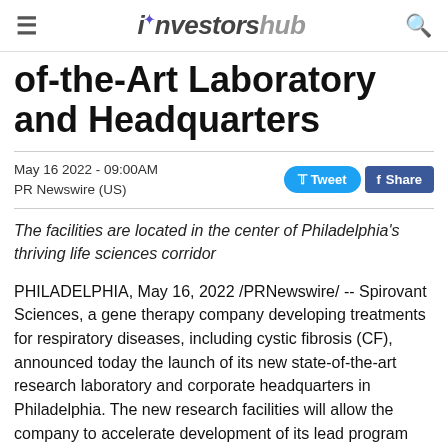investorshub
of-the-Art Laboratory and Headquarters
May 16 2022 - 09:00AM
PR Newswire (US)
The facilities are located in the center of Philadelphia's thriving life sciences corridor
PHILADELPHIA, May 16, 2022 /PRNewswire/ -- Spirovant Sciences, a gene therapy company developing treatments for respiratory diseases, including cystic fibrosis (CF), announced today the launch of its new state-of-the-art research laboratory and corporate headquarters in Philadelphia. The new research facilities will allow the company to accelerate development of its lead program targeting CF, as well as the next wave of cutting-edge